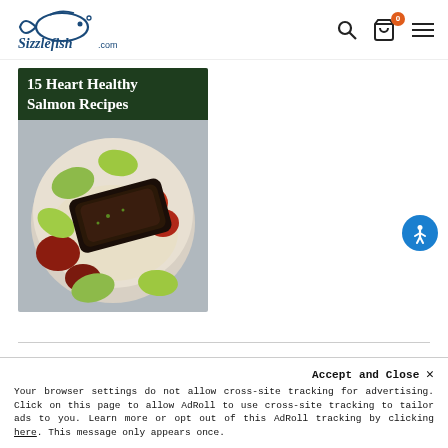Sizzlefish.com
[Figure (photo): 15 Heart Healthy Salmon Recipes — article thumbnail showing a blackened salmon fillet in a bowl with avocado, tomatoes, and grains. Dark green title overlay at top.]
[Figure (illustration): Accessibility icon button (blue circle with white person/wheelchair figure) positioned at right side.]
Accept and Close ✕
Your browser settings do not allow cross-site tracking for advertising. Click on this page to allow AdRoll to use cross-site tracking to tailor ads to you. Learn more or opt out of this AdRoll tracking by clicking here. This message only appears once.